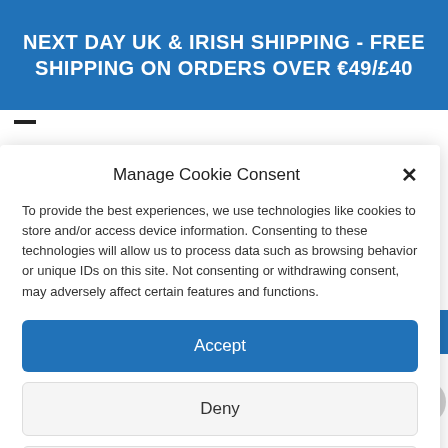NEXT DAY UK & IRISH SHIPPING - FREE SHIPPING ON ORDERS OVER €49/£40
Manage Cookie Consent
To provide the best experiences, we use technologies like cookies to store and/or access device information. Consenting to these technologies will allow us to process data such as browsing behavior or unique IDs on this site. Not consenting or withdrawing consent, may adversely affect certain features and functions.
Accept
Deny
View preferences